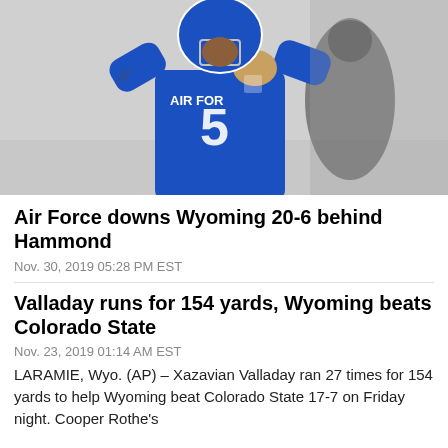[Figure (photo): Football player wearing Air Force jersey number 5 in blue uniform, appearing to pass or celebrate, with blurred background showing another person in dark jacket]
Air Force downs Wyoming 20-6 behind Hammond
Nov. 30, 2019 05:28 PM EST
Valladay runs for 154 yards, Wyoming beats Colorado State
Nov. 23, 2019 01:14 AM EST
LARAMIE, Wyo. (AP) – Xazavian Valladay ran 27 times for 154 yards to help Wyoming beat Colorado State 17-7 on Friday night. Cooper Rothe's